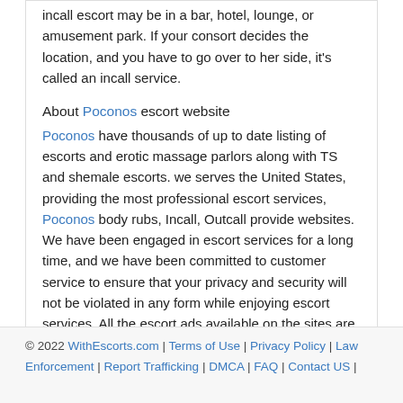incall escort may be in a bar, hotel, lounge, or amusement park. If your consort decides the location, and you have to go over to her side, it's called an incall service.
About Poconos escort website
Poconos have thousands of up to date listing of escorts and erotic massage parlors along with TS and shemale escorts. we serves the United States, providing the most professional escort services, Poconos body rubs, Incall, Outcall provide websites. We have been engaged in escort services for a long time, and we have been committed to customer service to ensure that your privacy and security will not be violated in any form while enjoying escort services. All the escort ads available on the sites are manually verified. That means you can feel free to contact any of the members available on the site without any hesitation. We are continuously working on to enhance our user experience and if you are facing any issue with the site then feel free to contact our 24x7 support.
© 2022 WithEscorts.com | Terms of Use | Privacy Policy | Law Enforcement | Report Trafficking | DMCA | FAQ | Contact US |